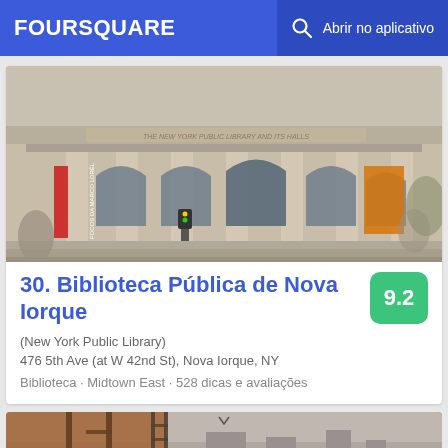FOURSQUARE  Abrir no aplicativo
[Figure (photo): Photo of the New York Public Library facade showing neoclassical columns and arched windows with red and orange banners]
30. Biblioteca Pública de Nova Iorque
(New York Public Library)
476 5th Ave (at W 42nd St), Nova Iorque, NY
Biblioteca · Midtown East · 528 dicas e avaliações
[Figure (photo): Partial photo of a construction site or rooftop with city skyline in background]